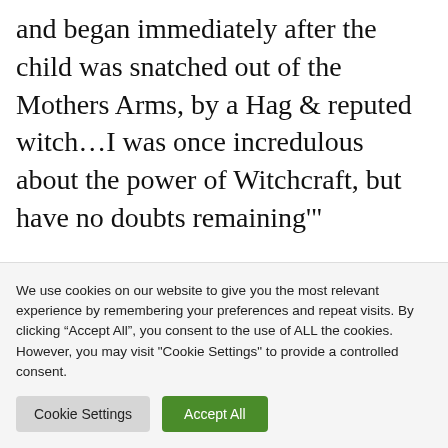and began immediately after the child was snatched out of the Mothers Arms, by a Hag & reputed witch…I was once incredulous about the power of Witchcraft, but have no doubts remaining'"
It's clear that Etterick's belief in Susan as a Dorset witch was
We use cookies on our website to give you the most relevant experience by remembering your preferences and repeat visits. By clicking "Accept All", you consent to the use of ALL the cookies. However, you may visit "Cookie Settings" to provide a controlled consent.